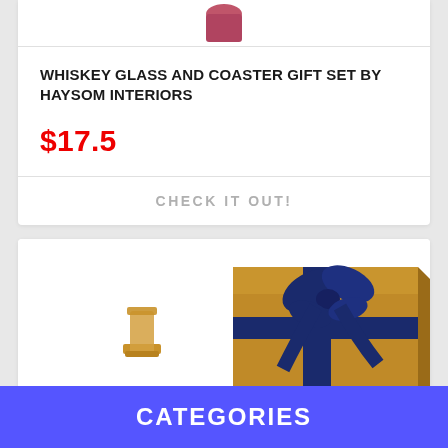[Figure (photo): Partial product image at top of card, cropped whiskey glass product]
WHISKEY GLASS AND COASTER GIFT SET BY HAYSOM INTERIORS
$17.5
CHECK IT OUT!
[Figure (photo): Gift box wrapped in brown kraft paper with dark navy blue ribbon bow, and a whiskey glass with gold base in front]
CATEGORIES